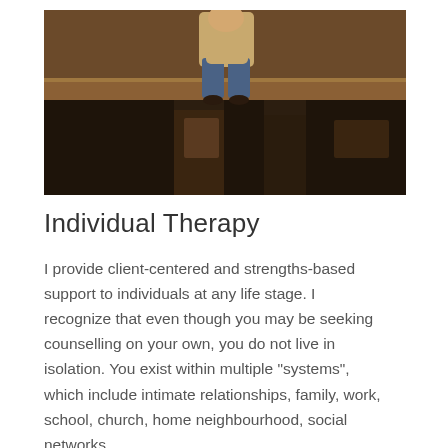[Figure (photo): A person in jeans and a light jacket sitting on a wooden bench or table in a dark room with wooden furniture, viewed from approximately waist down.]
Individual Therapy
I provide client-centered and strengths-based support to individuals at any life stage. I recognize that even though you may be seeking counselling on your own, you do not live in isolation. You exist within multiple "systems", which include intimate relationships, family, work, school, church, home neighbourhood, social networks,